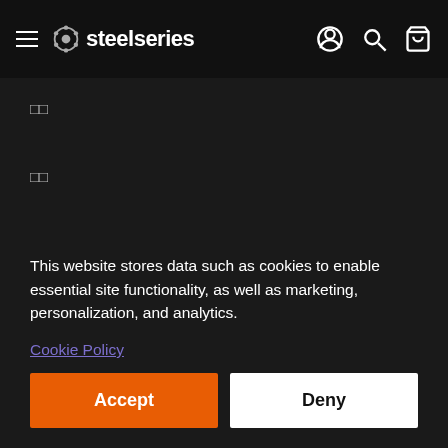steelseries
□□
□□
□□
□□
This website stores data such as cookies to enable essential site functionality, as well as marketing, personalization, and analytics.
Cookie Policy
Accept
Deny